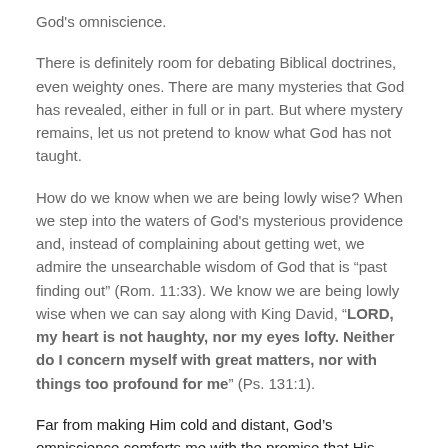God's omniscience.
There is definitely room for debating Biblical doctrines, even weighty ones. There are many mysteries that God has revealed, either in full or in part. But where mystery remains, let us not pretend to know what God has not taught.
How do we know when we are being lowly wise? When we step into the waters of God's mysterious providence and, instead of complaining about getting wet, we admire the unsearchable wisdom of God that is “past finding out” (Rom. 11:33). We know we are being lowly wise when we can say along with King David, “LORD, my heart is not haughty, nor my eyes lofty. Neither do I concern myself with great matters, nor with things too profound for me” (Ps. 131:1).
Far from making Him cold and distant, God’s omniscience comforts me with the promise that His knowledge is infinite. Therefore He can deal with all my needs, knowing and...